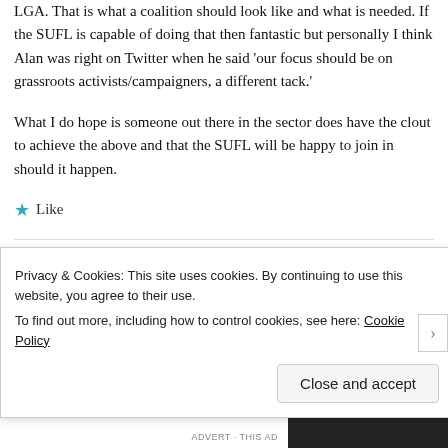LGA. That is what a coalition should look like and what is needed. If the SUFL is capable of doing that then fantastic but personally I think Alan was right on Twitter when he said 'our focus should be on grassroots activists/campaigners, a different tack.'
What I do hope is someone out there in the sector does have the clout to achieve the above and that the SUFL will be happy to join in should it happen.
★ Like
Tim Coates
Privacy & Cookies: This site uses cookies. By continuing to use this website, you agree to their use.
To find out more, including how to control cookies, see here: Cookie Policy